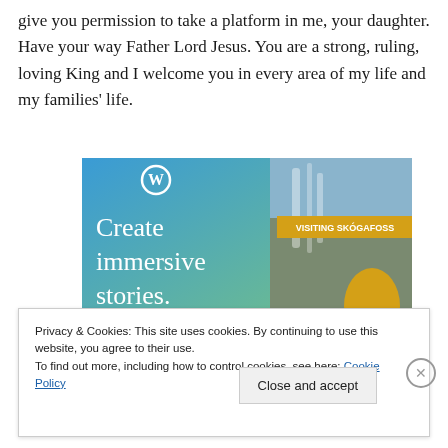give you permission to take a platform in me, your daughter. Have your way Father Lord Jesus. You are a strong, ruling, loving King and I welcome you in every area of my life and my families' life.
[Figure (screenshot): WordPress advertisement showing 'Create immersive stories.' with a phone displaying 'VISITING SKÓGAFOSS' and a waterfall/outdoor scene]
Privacy & Cookies: This site uses cookies. By continuing to use this website, you agree to their use.
To find out more, including how to control cookies, see here: Cookie Policy
Close and accept